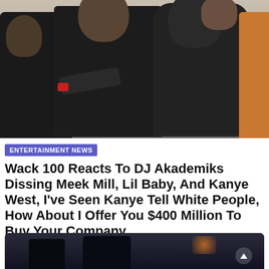[Figure (photo): Group photo of several men; one bald man in black T-shirt center-left, one man in dark hoodie center-right, partial figures on edges, one in orange on right edge.]
ENTERTAINMENT NEWS
Wack 100 Reacts To DJ Akademiks Dissing Meek Mill, Lil Baby, And Kanye West, I've Seen Kanye Tell White People, How About I Offer You $400 Million To Buy Your Company
[Figure (photo): Dark photo of basketball players on court with orange lighting in background.]